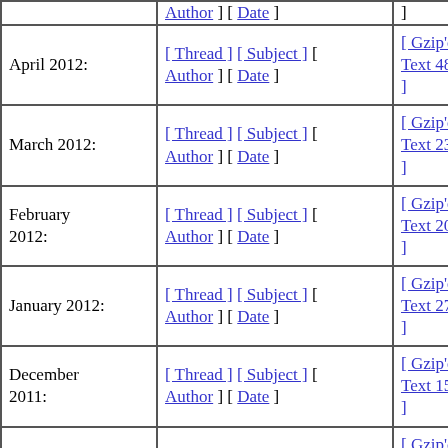| Month | Sort options | Download |
| --- | --- | --- |
| April 2012: | [ Thread ] [ Subject ] [ Author ] [ Date ] | [ Gzip'd Text 48 KB ] |
| March 2012: | [ Thread ] [ Subject ] [ Author ] [ Date ] | [ Gzip'd Text 23 KB ] |
| February 2012: | [ Thread ] [ Subject ] [ Author ] [ Date ] | [ Gzip'd Text 20 KB ] |
| January 2012: | [ Thread ] [ Subject ] [ Author ] [ Date ] | [ Gzip'd Text 27 KB ] |
| December 2011: | [ Thread ] [ Subject ] [ Author ] [ Date ] | [ Gzip'd Text 15 KB ] |
| November 2011: | [ Thread ] [ Subject ] [ Author ] [ Date ] | [ Gzip'd Text 36 KB ] |
| October 2011: | [ Thread ] [ Subject ] [ Author ] [ Date ] | [ Gzip'd Text 28 KB ] |
| September 2011: | [ Thread ] [ Subject ] [ Author ] [ Date ] | [ Gzip'd Text 17 KB ] |
| August 2011: | [ Thread ] [ Subject ] [ Author ] [ Date ] | [ Gzip'd Text 24 KB ] |
| July 2011: | [ Thread ] [ Subject ] [ Author ] [ Date ] | [ Gzip'd Text 59 KB ] |
| (partial) | [ Thread ] [ Subject ] | [ Gzip'd Text 29 KB ] |